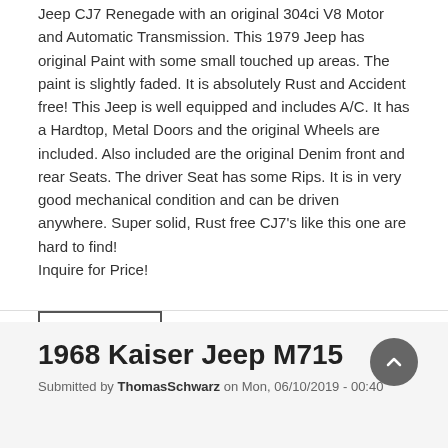Jeep CJ7 Renegade with an original 304ci V8 Motor and Automatic Transmission. This 1979 Jeep has original Paint with some small touched up areas. The paint is slightly faded. It is absolutely Rust and Accident free! This Jeep is well equipped and includes A/C. It has a Hardtop, Metal Doors and the original Wheels are included. Also included are the original Denim front and rear Seats. The driver Seat has some Rips. It is in very good mechanical condition and can be driven anywhere. Super solid, Rust free CJ7's like this one are hard to find!
Inquire for Price!
READ MORE
1968 Kaiser Jeep M715
Submitted by ThomasSchwarz on Mon, 06/10/2019 - 00:40